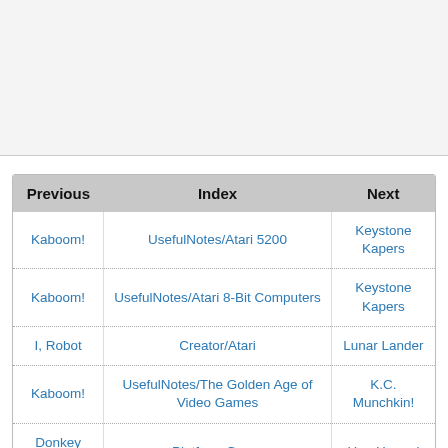| Previous | Index | Next |
| --- | --- | --- |
| Kaboom! | UsefulNotes/Atari 5200 | Keystone Kapers |
| Kaboom! | UsefulNotes/Atari 8-Bit Computers | Keystone Kapers |
| I, Robot | Creator/Atari | Lunar Lander |
| Kaboom! | UsefulNotes/The Golden Age of Video Games | K.C. Munchkin! |
| Donkey Kong | Platform Game | Hap Hazard |